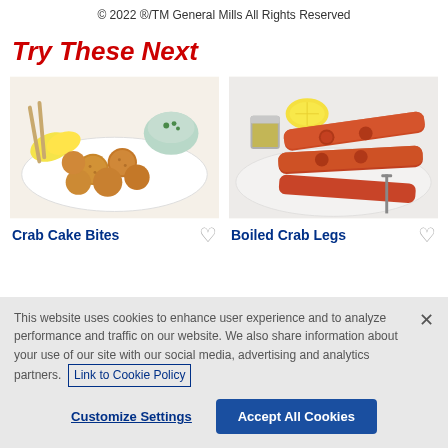© 2022 ®/TM General Mills All Rights Reserved
Try These Next
[Figure (photo): Food photo of Crab Cake Bites on a white plate with dipping sauce and lemon slices]
Crab Cake Bites
[Figure (photo): Food photo of Boiled Crab Legs on a plate with lemon and dipping sauce]
Boiled Crab Legs
This website uses cookies to enhance user experience and to analyze performance and traffic on our website. We also share information about your use of our site with our social media, advertising and analytics partners. Link to Cookie Policy
Customize Settings
Accept All Cookies